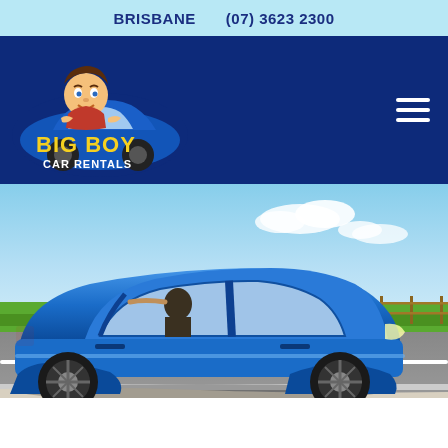BRISBANE   (07) 3623 2300
[Figure (logo): Big Boy Car Rentals logo with cartoon boy character sitting on a blue car, yellow text reading BIG BOY CAR RENTALS on dark blue background]
[Figure (photo): Blue SUV/crossover car driving on a road with green fields and blue sky in background, person visible in driver seat]
Terms & Conditions